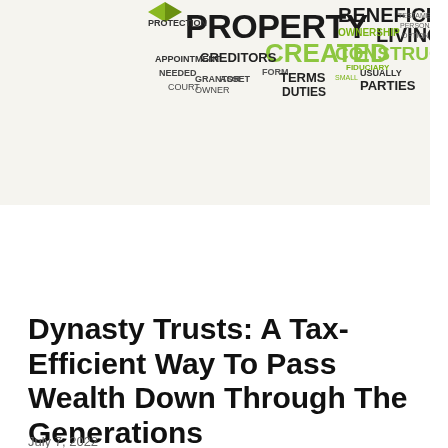[Figure (infographic): Word cloud with trust-related legal and financial terms. Large black text: PROPERTY, BENEFICIARY, LIVING. Large green text: CONSTRUCTIVE, CREATED. Medium terms: PROTECTION, OWNERSHIP, CREDITORS, TERMS, DUTIES, APPOINTMENT, ASSET, FIDUCIARY, PARTIES, NEEDED, COURT, OWNER, etc.]
Dynasty Trusts: A Tax-Efficient Way To Pass Wealth Down Through The Generations
July 7, 2022